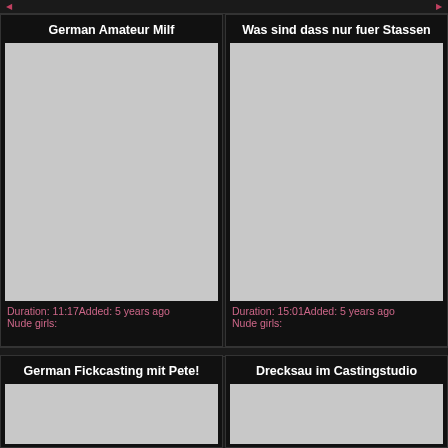German Amateur Milf
[Figure (photo): Gray placeholder thumbnail for German Amateur Milf video]
Duration: 11:17Added: 5 years ago
Nude girls:
Was sind dass nur fuer Stassen
[Figure (photo): Gray placeholder thumbnail for Was sind dass nur fuer Stassen video]
Duration: 15:01Added: 5 years ago
Nude girls:
German Fickcasting mit Pete!
[Figure (photo): Gray placeholder thumbnail for German Fickcasting mit Pete! video]
Drecksau im Castingstudio
[Figure (photo): Gray placeholder thumbnail for Drecksau im Castingstudio video]